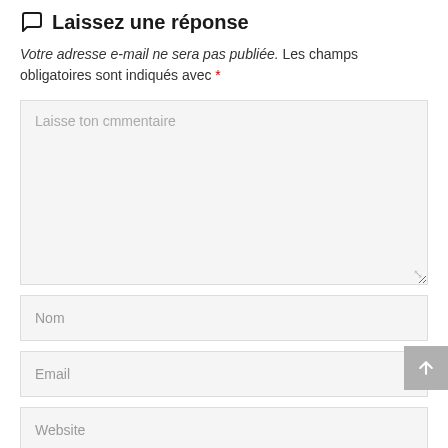Laissez une réponse
Votre adresse e-mail ne sera pas publiée. Les champs obligatoires sont indiqués avec *
[Figure (other): Comment text area input field with placeholder text 'Laisse ton cmmentaire']
[Figure (other): Name input field with placeholder 'Nom']
[Figure (other): Email input field with placeholder 'Email']
[Figure (other): Website input field with placeholder 'Website']